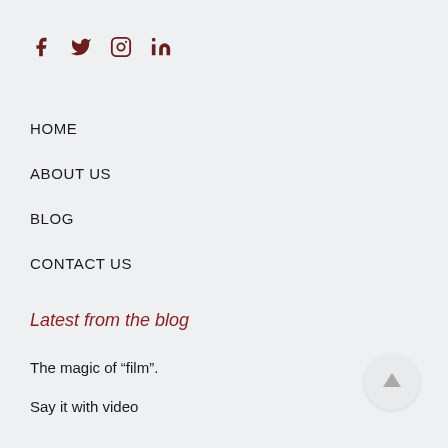[Figure (illustration): Social media icons: Facebook (f), Twitter (bird), Instagram (camera), LinkedIn (in) in dark red/brown color]
HOME
ABOUT US
BLOG
CONTACT US
Latest from the blog
The magic of “film”.
Say it with video
[Figure (illustration): Back to top arrow button — circular grey button with upward arrow]